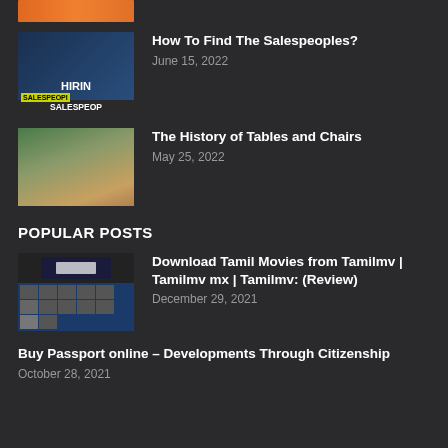[Figure (photo): Partial orange/image thumbnail at top, cropped]
[Figure (photo): Hiring salespeople thumbnail image with text overlay: HIRING SALESPEOPLE]
How To Find The Salespeoples?
June 15, 2022
[Figure (photo): Indoor room with tables and chairs]
The History of Tables and Chairs
May 25, 2022
POPULAR POSTS
[Figure (screenshot): Screenshot of Tamilmv movie download website]
Download Tamil Movies from Tamilmv | Tamilmv mx | Tamilmv: (Review)
December 29, 2021
Buy Passport online – Developments Through Citizenship
October 28, 2021